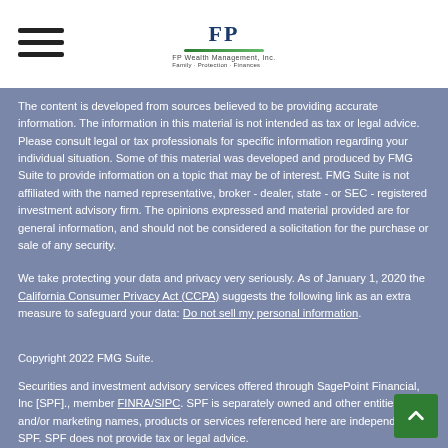FP Wealth Management, Inc.
The content is developed from sources believed to be providing accurate information. The information in this material is not intended as tax or legal advice. Please consult legal or tax professionals for specific information regarding your individual situation. Some of this material was developed and produced by FMG Suite to provide information on a topic that may be of interest. FMG Suite is not affiliated with the named representative, broker - dealer, state - or SEC - registered investment advisory firm. The opinions expressed and material provided are for general information, and should not be considered a solicitation for the purchase or sale of any security.
We take protecting your data and privacy very seriously. As of January 1, 2020 the California Consumer Privacy Act (CCPA) suggests the following link as an extra measure to safeguard your data: Do not sell my personal information.
Copyright 2022 FMG Suite.
Securities and investment advisory services offered through SagePoint Financial, Inc [SPF]., member FINRA/SIPC. SPF is separately owned and other entities and/or marketing names, products or services referenced here are independent of SPF. SPF does not provide tax or legal advice.
Certified Financial Planner Board of Standards, Inc. (CFP Board) owns the CFP® certification mark, the CERTIFIED FINANCIAL PLANNER™ certification mark, and the CFP® certification mark (with plaque design) logo in the United States, which it